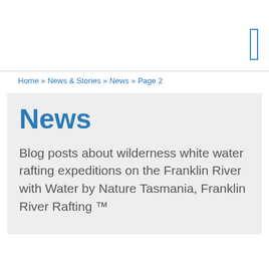Home » News & Stories » News » Page 2
News
Blog posts about wilderness white water rafting expeditions on the Franklin River with Water by Nature Tasmania, Franklin River Rafting ™